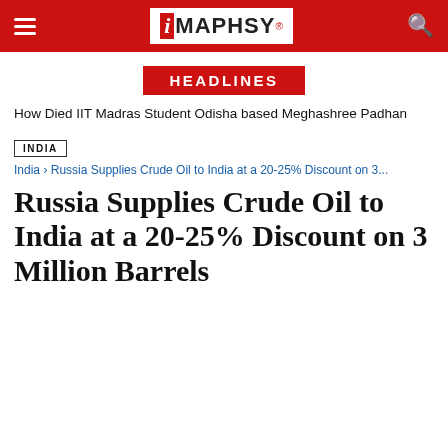iMAPHSY
HEADLINES
How Died IIT Madras Student Odisha based Meghashree Padhan
INDIA
India › Russia Supplies Crude Oil to India at a 20-25% Discount on 3...
Russia Supplies Crude Oil to India at a 20-25% Discount on 3 Million Barrels